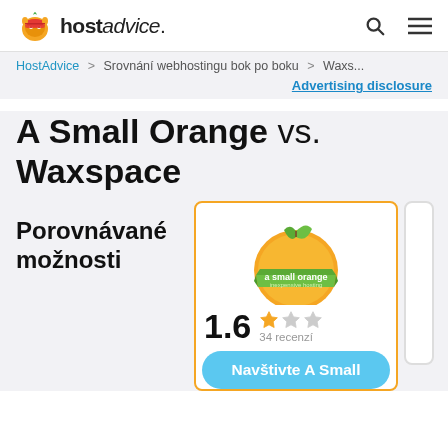hostadvice. [search icon] [menu icon]
HostAdvice > Srovnání webhostingu bok po boku > Waxs...
Advertising disclosure
A Small Orange vs. Waxspace
Porovnávané možnosti
[Figure (logo): A Small Orange logo - orange fruit with green leaf and banner reading 'a small orange inexpensive hosting']
1.6  34 recenzí
Navštivte A Small